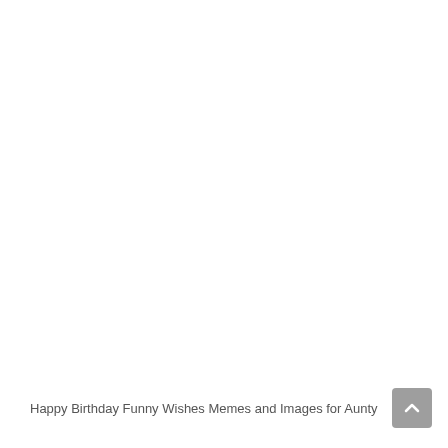[Figure (other): Broken image placeholder with alt text 'Happy Birthday Funny Wishes Memes and Images for Aunty']
Happy Birthday Funny Wishes Memes and Images for Aunty